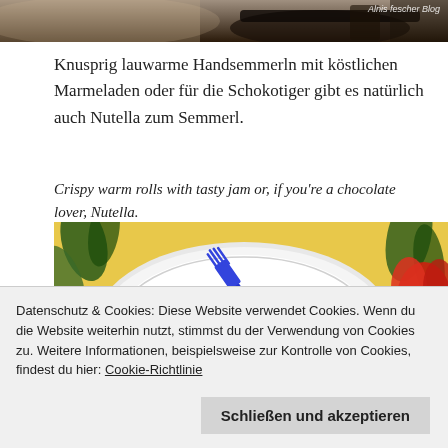[Figure (photo): Top portion of a photo showing dark food items (possibly dark bread or pastry with dark toppings or utensils) with a watermark reading 'Alnis fescher Blog' in the top right corner.]
Knusprig lauwarme Handsemmerln mit köstlichen Marmeladen oder für die Schokotiger gibt es natürlich auch Nutella zum Semmerl.
Crispy warm rolls with tasty jam or, if you're a chocolate lover, Nutella.
[Figure (photo): A white plate on a floral patterned tablecloth (with tropical flowers and leaves in red, green and yellow), with a blue fork resting on the plate and what appears to be a small red jam-covered roll with powdered sugar.]
Datenschutz & Cookies: Diese Website verwendet Cookies. Wenn du die Website weiterhin nutzt, stimmst du der Verwendung von Cookies zu. Weitere Informationen, beispielsweise zur Kontrolle von Cookies, findest du hier: Cookie-Richtlinie
Schließen und akzeptieren